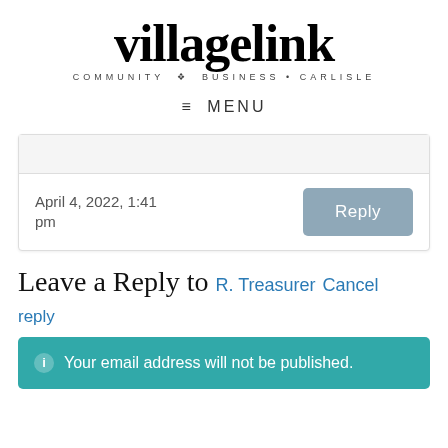[Figure (logo): villagelink logo with tagline COMMUNITY BUSINESS CARLISLE]
≡ MENU
April 4, 2022, 1:41 pm
Leave a Reply to R. Treasurer Cancel reply
Your email address will not be published.